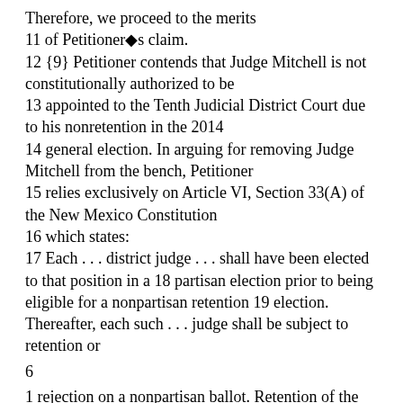Therefore, we proceed to the merits
11 of Petitioner◆s claim.
12 {9} Petitioner contends that Judge Mitchell is not constitutionally authorized to be
13 appointed to the Tenth Judicial District Court due to his nonretention in the 2014
14 general election. In arguing for removing Judge Mitchell from the bench, Petitioner
15 relies exclusively on Article VI, Section 33(A) of the New Mexico Constitution
16 which states:
17 Each . . . district judge . . . shall have been elected to that position in a 18 partisan election prior to being eligible for a nonpartisan retention 19 election. Thereafter, each such . . . judge shall be subject to retention or
6
1 rejection on a nonpartisan ballot. Retention of the judicial office shall 2 require at least fifty